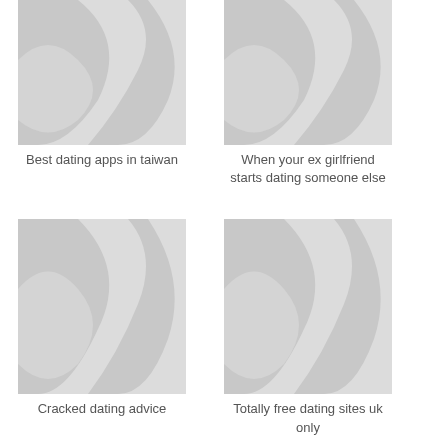[Figure (illustration): Placeholder image with grey diagonal wave pattern]
Best dating apps in taiwan
[Figure (illustration): Placeholder image with grey diagonal wave pattern]
When your ex girlfriend starts dating someone else
[Figure (illustration): Placeholder image with grey diagonal wave pattern]
Cracked dating advice
[Figure (illustration): Placeholder image with grey diagonal wave pattern]
Totally free dating sites uk only
[Figure (illustration): Placeholder image with grey diagonal wave pattern (partially visible)]